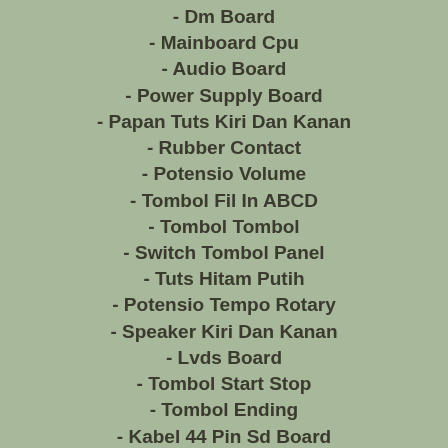- Dm Board
- Mainboard Cpu
- Audio Board
- Power Supply Board
- Papan Tuts Kiri Dan Kanan
- Rubber Contact
- Potensio Volume
- Tombol Fil In ABCD
- Tombol Tombol
- Switch Tombol Panel
- Tuts Hitam Putih
- Potensio Tempo Rotary
- Speaker Kiri Dan Kanan
- Lvds Board
- Tombol Start Stop
- Tombol Ending
- Kabel 44 Pin Sd Board
- Function Control Panel
- Socket Output Jack
- Socket Adaptor Power Supply
- Kaca Touch Screen Lcd
- Mainboard Mesin Cpu